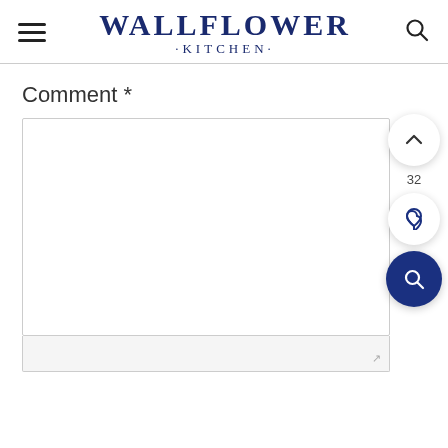WALLFLOWER KITCHEN
Comment *
[Figure (screenshot): Comment text area input box, empty, with border]
[Figure (other): Floating action buttons: up chevron, heart/like with count 32, and dark blue search button]